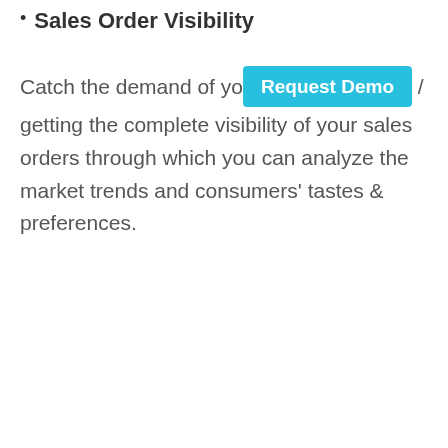Sales Order Visibility
Catch the demand of your industry by getting the complete visibility of your sales orders through which you can analyze the market trends and consumers' tastes & preferences.